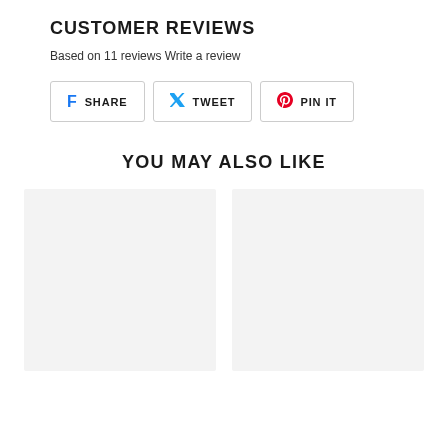CUSTOMER REVIEWS
Based on 11 reviews Write a review
[Figure (other): Social sharing buttons: Facebook SHARE, Twitter TWEET, Pinterest PIN IT]
YOU MAY ALSO LIKE
[Figure (other): Two product image placeholder boxes shown side by side]